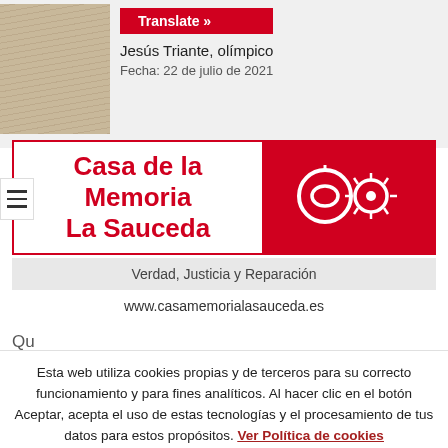[Figure (photo): Thumbnail photo of a printed document or newspaper with handwritten/printed text columns]
Translate »
Jesús Triante, olímpico
Fecha: 22 de julio de 2021
Casa de la Memoria La Sauceda
[Figure (logo): Red background with two circular graphic icons forming the Casa de la Memoria La Sauceda logo]
Verdad, Justicia y Reparación
www.casamemorialasauceda.es
Esta web utiliza cookies propias y de terceros para su correcto funcionamiento y para fines analíticos. Al hacer clic en el botón Aceptar, acepta el uso de estas tecnologías y el procesamiento de tus datos para estos propósitos. Ver Política de cookies
RECHAZAR
ACEPTAR